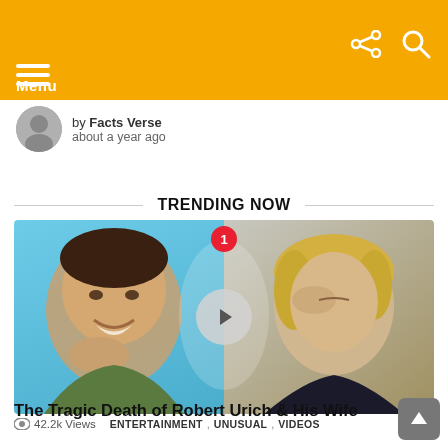Menu
by Facts Verse · about a year ago
TRENDING NOW
[Figure (photo): Video thumbnail showing two photos side by side: a smiling dark-haired man on a blue background on the left, and a blonde woman with her hand to her face on the right. A play button overlay is centered, and a red badge with '1' is at the top center.]
42.2k Views   ENTERTAINMENT , UNUSUAL , VIDEOS
The Tragic Death of Robert Urich & His Wife